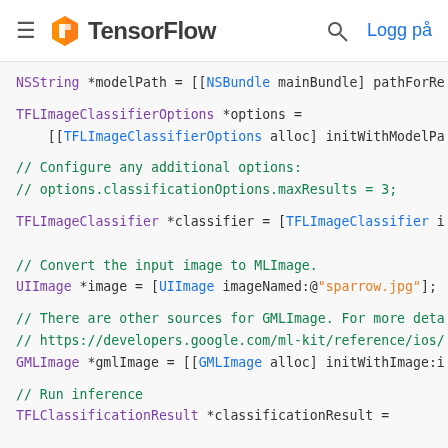TensorFlow — Logg på
[Figure (screenshot): TensorFlow website navigation bar with hamburger menu, TensorFlow logo, search icon, and 'Logg på' login link]
NSString *modelPath = [[NSBundle mainBundle] pathForRe
TFLImageClassifierOptions *options =
    [[TFLImageClassifierOptions alloc] initWithModelPa
// Configure any additional options:
// options.classificationOptions.maxResults = 3;
TFLImageClassifier *classifier = [TFLImageClassifier i
// Convert the input image to MLImage.
UIImage *image = [UIImage imageNamed:@"sparrow.jpg"];
// There are other sources for GMLImage. For more deta
// https://developers.google.com/ml-kit/reference/ios/
GMLImage *gmlImage = [[GMLImage alloc] initWithImage:i
// Run inference
TFLClassificationResult *classificationResult =